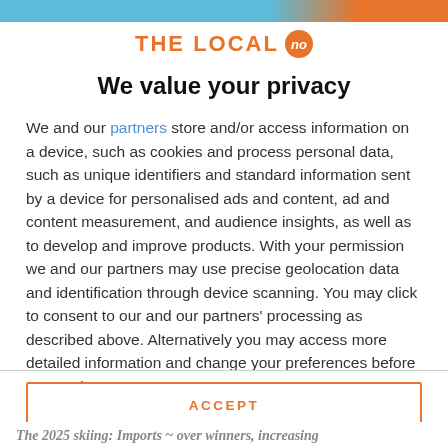THE LOCAL no
We value your privacy
We and our partners store and/or access information on a device, such as cookies and process personal data, such as unique identifiers and standard information sent by a device for personalised ads and content, ad and content measurement, and audience insights, as well as to develop and improve products. With your permission we and our partners may use precise geolocation data and identification through device scanning. You may click to consent to our and our partners' processing as described above. Alternatively you may access more detailed information and change your preferences before consenting
ACCEPT
MORE OPTIONS
The 2025 skiing: Imports ~ over winners, increasing